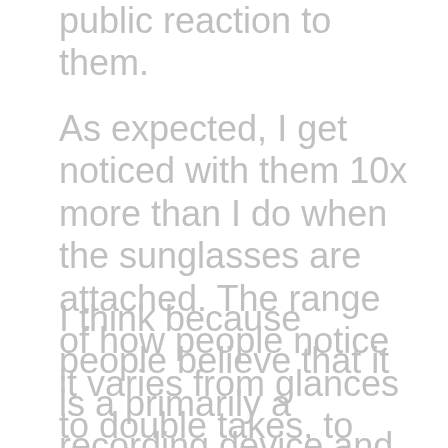public reaction to them.
As expected, I get noticed with them 10x more than I do when the sunglasses are attached. The range of how people notice it varies from glances to double takes, to blatant staring. Interestingly I also made a few more observations about people's behaviour around me when I'm wearing them.
I think because people believe that it is a primarily a recording device and the news has all been around the privacy aspect, people are afraid to come near me for fear of being recorded. In fact it's kind of like having a force field. it's funny.